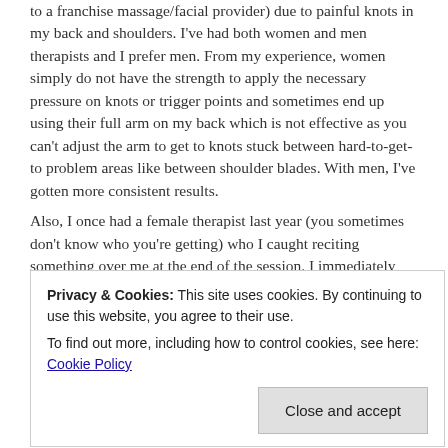to a franchise massage/facial provider) due to painful knots in my back and shoulders. I've had both women and men therapists and I prefer men. From my experience, women simply do not have the strength to apply the necessary pressure on knots or trigger points and sometimes end up using their full arm on my back which is not effective as you can't adjust the arm to get to knots stuck between hard-to-get-to problem areas like between shoulder blades. With men, I've gotten more consistent results.
Also, I once had a female therapist last year (you sometimes don't know who you're getting) who I caught reciting something over me at the end of the session. I immediately told her to stop
Privacy & Cookies: This site uses cookies. By continuing to use this website, you agree to their use.
To find out more, including how to control cookies, see here: Cookie Policy
ungodly practice. I never saw her again. Another